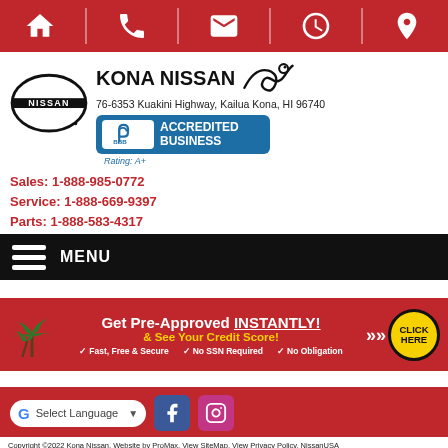[Figure (infographic): Top red navigation bar with white icons: home, phone, envelope, clock, map pin]
[Figure (logo): Nissan circular logo with NISSAN text]
KONA NISSAN
76-6353 Kuakini Highway, Kailua Kona, HI 96740
[Figure (logo): BBB Accredited Business badge, Rating: A+]
Sales: 1-888-985-0772
Service: 1-888-669-9397
Parts: 1-888-583-4317
[Figure (infographic): Black menu bar with hamburger icon and MENU label]
[Figure (infographic): Red banner: Get Pre-Approved INSTANTLY! & See Your Credit Score! Fast, Free & Secure | No SSN Required | No Obligation | CLICK HERE button]
[Figure (infographic): Google Translate selector, Facebook and Instagram social icons on red background]
Copyright ©2022 Kona Nissan. Website by ProMax. View SiteMap.  View Privacy Policy.  NissanUSA